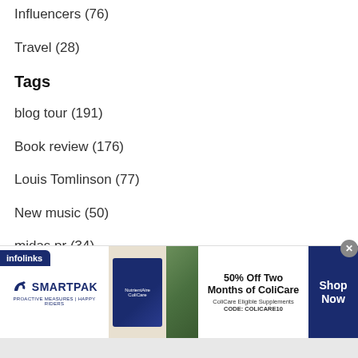Influencers (76)
Travel (28)
Tags
blog tour (191)
Book review (176)
Louis Tomlinson (77)
New music (50)
midas pr (34)
Year
2022 (157)
[Figure (other): SmartPak advertisement banner: 50% Off Two Months of ColiCare, ColiCare Eligible Supplements, CODE: COLICARE10, with Shop Now button]